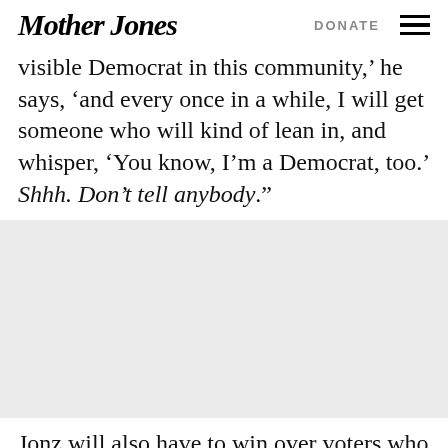Mother Jones | DONATE
visible Democrat in this community,' he says, 'and every once in a while, I will get someone who will kind of lean in, and whisper, 'You know, I'm a Democrat, too.' Shhh. Don't tell anybody'."
[Figure (photo): Gray placeholder image area]
Jonz will also have to win over voters who once